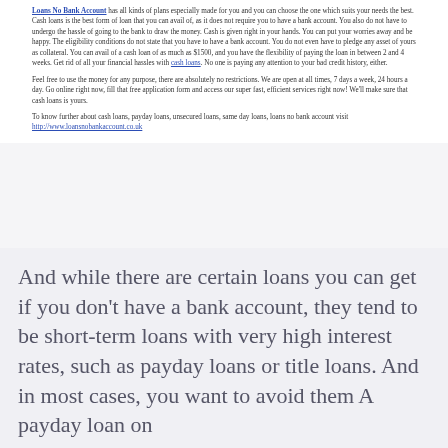Loans No Bank Account has all kinds of plans especially made for you and you can choose the one which suits your needs the best. Cash loans is the best form of loan that you can avail of, as it does not require you to have a bank account. You also do not have to undergo the hassle of going to the bank to draw the money. Cash is given right in your hands. You can put your worries away and be happy. The eligibility conditions do not state that you have to have a bank account. You do not even have to pledge any asset of yours as collateral. You can avail of a cash loan of as much as $1500, and you have the flexibility of paying the loan in between 2 and 4 weeks. Get rid of all your financial hassles with cash loans. No one is paying any attention to your bad credit history, either.
Feel free to use the money for any purpose, there are absolutely no restrictions. We are open at all times, 7 days a week, 24 hours a day. Go online right now, fill that free application form and access our super fast, efficient services right now! We'll make sure that cash loans is yours.
To know further about cash loans, payday loans, unsecured loans, same day loans, loans no bank account visit http://www.loansnobankaccount.co.uk
And while there are certain loans you can get if you don't have a bank account, they tend to be short-term loans with very high interest rates, such as payday loans or title loans. And in most cases, you want to avoid them A payday loan on